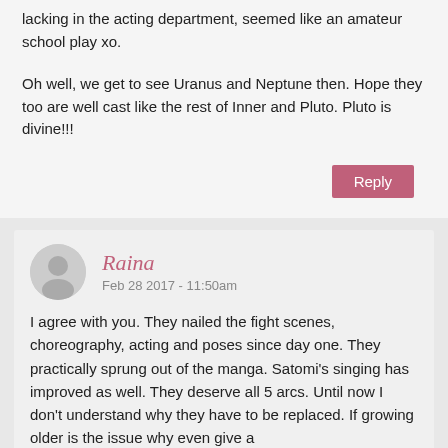lacking in the acting department, seemed like an amateur school play xo.
Oh well, we get to see Uranus and Neptune then. Hope they too are well cast like the rest of Inner and Pluto. Pluto is divine!!!
Reply
Raina
Feb 28 2017 - 11:50am
I agree with you. They nailed the fight scenes, choreography, acting and poses since day one. They practically sprung out of the manga. Satomi's singing has improved as well. They deserve all 5 arcs. Until now I don't understand why they have to be replaced. If growing older is the issue why even give a